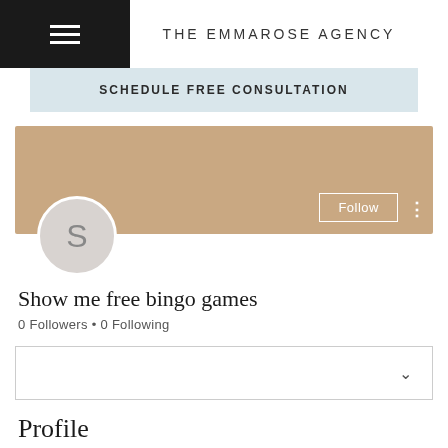THE EMMAROSE AGENCY
SCHEDULE FREE CONSULTATION
[Figure (screenshot): User profile banner with tan/beige background color, a circular avatar placeholder with letter S, a Follow button, and a three-dot menu icon]
Show me free bingo games
0 Followers • 0 Following
[Figure (other): Dropdown/select box with chevron arrow on the right]
Profile